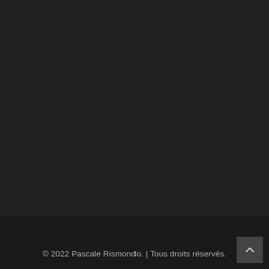© 2022 Pascale Rismondo. | Tous droits réservés.